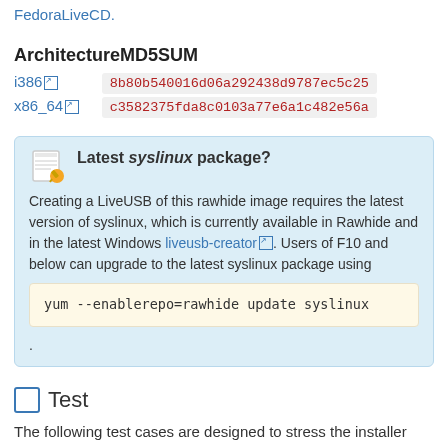FedoraLiveCD.
ArchitectureMD5SUM
| Architecture | MD5SUM |
| --- | --- |
| i386 | 8b80b540016d06a292438d9787ec5c25 |
| x86_64 | c3582375fda8c0103a77e6a1c482e56a |
Latest syslinux package? Creating a LiveUSB of this rawhide image requires the latest version of syslinux, which is currently available in Rawhide and in the latest Windows liveusb-creator. Users of F10 and below can upgrade to the latest syslinux package using
yum --enablerepo=rawhide update syslinux
.
Test
The following test cases are designed to stress the installer